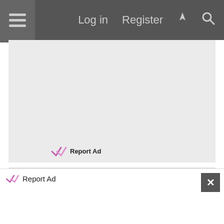Log in   Register
[Figure (other): Advertisement block placeholder (light gray rectangle)]
Report Ad
Nov 13, 2006   #16
[Figure (other): User avatar (partially visible)]
Report Ad